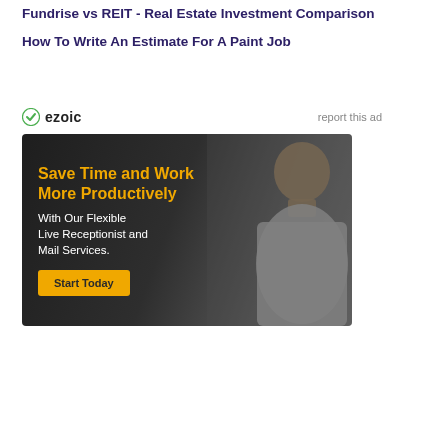Fundrise vs REIT - Real Estate Investment Comparison
How To Write An Estimate For A Paint Job
[Figure (other): Ezoic advertisement banner with logo and 'report this ad' link, followed by an ad for a Live Receptionist and Mail Services with headline 'Save Time and Work More Productively', subtext 'With Our Flexible Live Receptionist and Mail Services.', and a 'Start Today' button. Features a photo of a bald Black man in a grey shirt.]